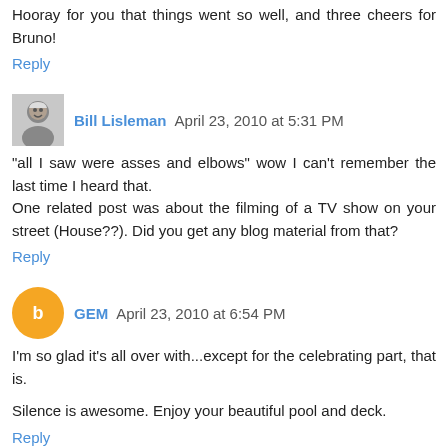Hooray for you that things went so well, and three cheers for Bruno!
Reply
Bill Lisleman  April 23, 2010 at 5:31 PM
"all I saw were asses and elbows" wow I can't remember the last time I heard that.
One related post was about the filming of a TV show on your street (House??). Did you get any blog material from that?
Reply
GEM  April 23, 2010 at 6:54 PM
I'm so glad it's all over with...except for the celebrating part, that is.
Silence is awesome. Enjoy your beautiful pool and deck.
Reply